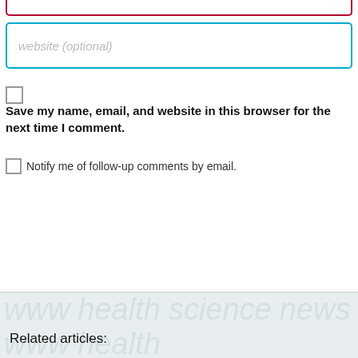website (optional)
Save my name, email, and website in this browser for the next time I comment.
Notify me of follow-up comments by email.
add comment
Related articles: